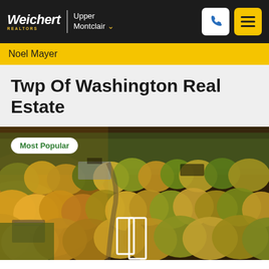Weichert REALTORS | Upper Montclair
Noel Mayer
Twp Of Washington Real Estate
[Figure (photo): Aerial autumn view of a suburban township with dense tree canopy in fall colors (yellows, oranges, greens), residential buildings visible among trees, and a white rectangular marker/sign in the foreground. Badge reads 'Most Popular'.]